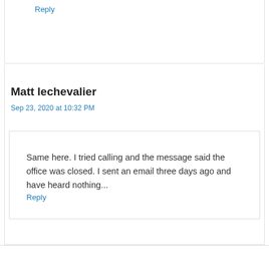Reply
Matt lechevalier
Sep 23, 2020 at 10:32 PM
Same here. I tried calling and the message said the office was closed. I sent an email three days ago and have heard nothing...
Reply